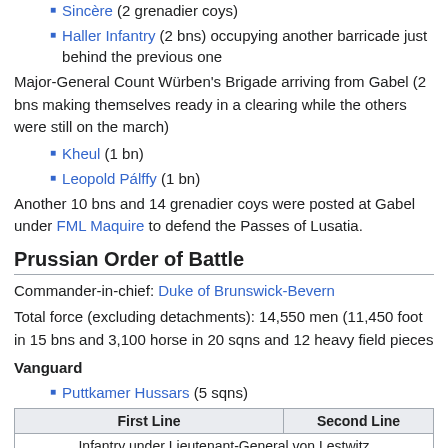Sincère (2 grenadier coys)
Haller Infantry (2 bns) occupying another barricade just behind the previous one
Major-General Count Würben's Brigade arriving from Gabel (2 bns making themselves ready in a clearing while the others were still on the march)
Kheul (1 bn)
Leopold Pálffy (1 bn)
Another 10 bns and 14 grenadier coys were posted at Gabel under FML Maquire to defend the Passes of Lusatia.
Prussian Order of Battle
Commander-in-chief: Duke of Brunswick-Bevern
Total force (excluding detachments): 14,550 men (11,450 foot in 15 bns and 3,100 horse in 20 sqns and 12 heavy field pieces
Vanguard
Puttkamer Hussars (5 sqns)
| First Line | Second Line |
| --- | --- |
| Infantry under Lieutenant-General von Lestwitz |  |
| from right to left
• Grenadier Battalion Alt- |  |